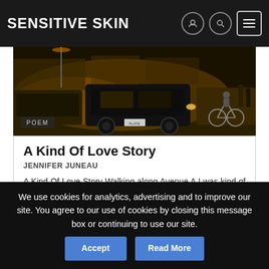Sensitive Skin
[Figure (photo): Nighttime street scene with cars, a bicycle, and pedestrians on Avenue A]
A Kind Of Love Story
JENNIFER JUNEAU
A Kind Of Love Story Walking along Avenue A I was kind of drunk It was kind of desolate and kind of late All the stores were kind of closed And there was this guy who kind of looked like you He kind of smiled I kind ...
More...
We use cookies for analytics, advertising and to improve our site. You agree to our use of cookies by closing this message box or continuing to use our site.